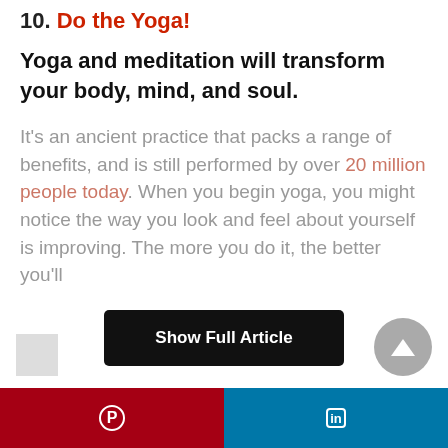10. Do the Yoga!
Yoga and meditation will transform your body, mind, and soul.
It's an ancient practice that packs a range of benefits, and is still performed by over 20 million people today. When you begin yoga, you might notice the way you look and feel about yourself is improving. The more you do it, the better you'll
[Figure (other): Show Full Article button - black rounded rectangle button with white text]
[Figure (other): Scroll to top button - grey circle with upward triangle arrow]
[Figure (other): Small square placeholder image thumbnail]
Pinterest share button | LinkedIn share button